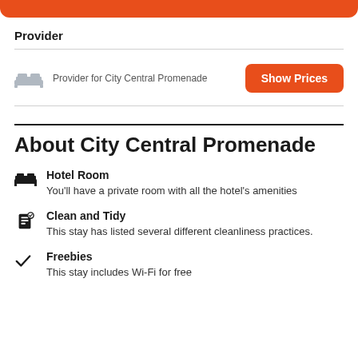[Figure (other): Orange decorative bar at the top]
Provider
Provider for City Central Promenade
Show Prices
About City Central Promenade
Hotel Room
You'll have a private room with all the hotel's amenities
Clean and Tidy
This stay has listed several different cleanliness practices.
Freebies
This stay includes Wi-Fi for free